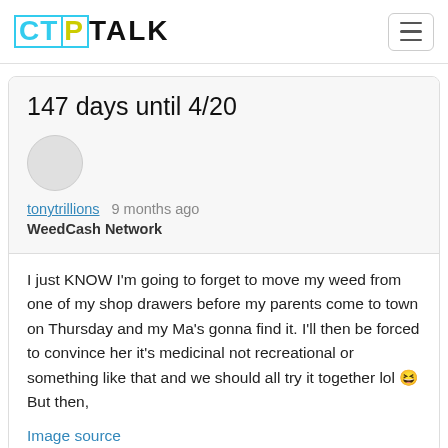CTPTALK
147 days until 4/20
tonytrillions  9 months ago
WeedCash Network
I just KNOW I'm going to forget to move my weed from one of my shop drawers before my parents come to town on Thursday and my Ma's gonna find it. I'll then be forced to convince her it's medicinal not recreational or something like that and we should all try it together lol 😆 But then,
Image source